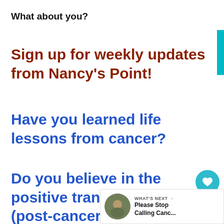What about you?
Sign up for weekly updates from Nancy’s Point!
Have you learned life lessons from cancer?
Do you believe in the positive transformation (post-cancer diagnosis) theory?
Are you weary of reading all the “positives” of breast cancer, too, or